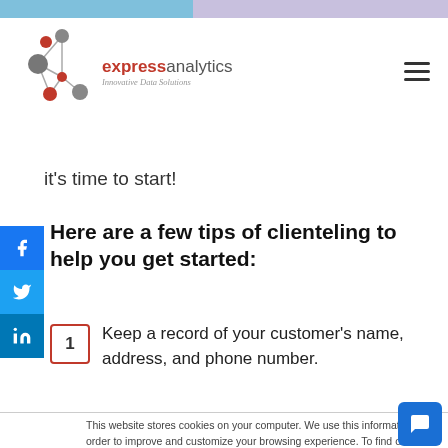[Figure (logo): Express Analytics logo with red and gray spheres network graphic, text 'expressanalytics' and tagline 'Innovative Data Solutions']
it's time to start!
Here are a few tips of clienteling to help you get started:
1. Keep a record of your customer's name, address, and phone number.
This website stores cookies on your computer. We use this information in order to improve and customize your browsing experience. To find out more about the cookies we use, see our Privacy Policy.

If you decline, your information won't be tracked when you visit this website.